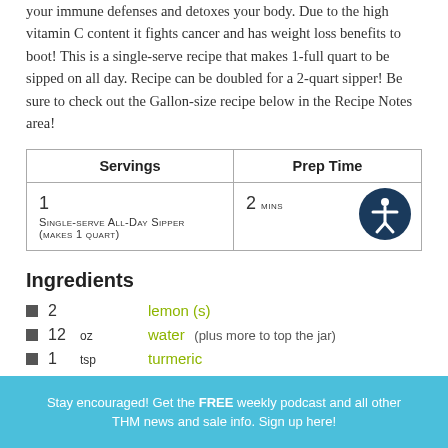your immune defenses and detoxes your body. Due to the high vitamin C content it fights cancer and has weight loss benefits to boot! This is a single-serve recipe that makes 1-full quart to be sipped on all day. Recipe can be doubled for a 2-quart sipper! Be sure to check out the Gallon-size recipe below in the Recipe Notes area!
| Servings | Prep Time |
| --- | --- |
| 1
Single-serve All-Day Sipper
(makes 1 quart) | 2 MINS |
Ingredients
2  lemon (s)
12 oz  water  (plus more to top the jar)
1 tsp  turmeric
Stay encouraged! Get the FREE weekly podcast and all other THM news and sale info. Sign up here!